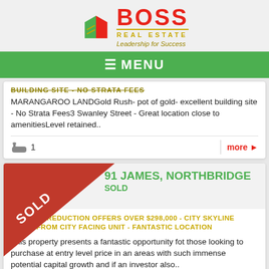[Figure (logo): Boss Real Estate logo with red building icon, red BOSS text, gold REAL ESTATE text, tagline Leadership for Success]
≡ MENU
BUILDING SITE - NO STRATA FEES
MARANGAROO LANDGold Rush- pot of gold- excellent building site - No Strata Fees3 Swanley Street - Great location close to amenitiesLevel retained..
1
more ▶
91 JAMES, NORTHBRIDGE
SOLD
AMAZING REDUCTION OFFERS OVER $298,000 - CITY SKYLINE VIEWS FROM CITY FACING UNIT - FANTASTIC LOCATION
This property presents a fantastic opportunity fot those looking to purchase at entry level price in an areas with such immense potential capital growth and if an investor also..
3   1   1
more ▶